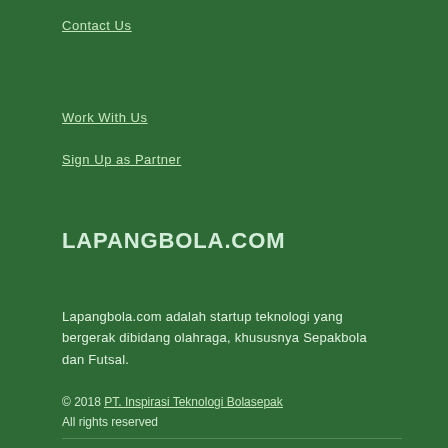Contact Us
Work With Us
Sign Up as Partner
LAPANGBOLA.COM
Lapangbola.com adalah startup teknologi yang bergerak dibidang olahraga, khususnya Sepakbola dan Futsal.
© 2018 PT. Inspirasi Teknologi Bolasepak
All rights reserved